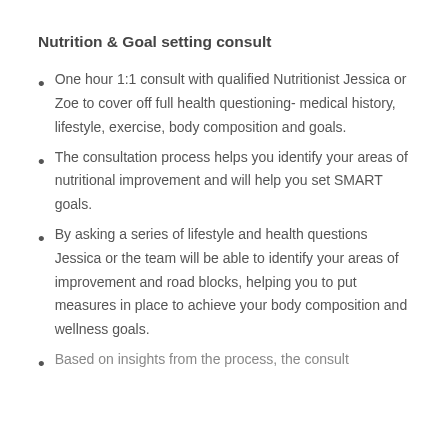Nutrition & Goal setting consult
One hour 1:1 consult with qualified Nutritionist Jessica or Zoe to cover off full health questioning- medical history, lifestyle, exercise, body composition and goals.
The consultation process helps you identify your areas of nutritional improvement and will help you set SMART goals.
By asking a series of lifestyle and health questions Jessica or the team will be able to identify your areas of improvement and road blocks, helping you to put measures in place to achieve your body composition and wellness goals.
Based on insights from the process, the consult...